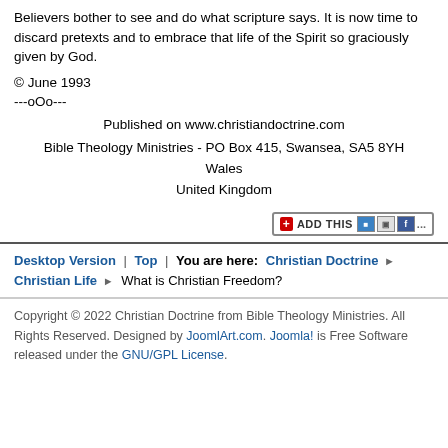Believers bother to see and do what scripture says. It is now time to discard pretexts and to embrace that life of the Spirit so graciously given by God.
© June 1993
---oOo---
Published on www.christiandoctrine.com
Bible Theology Ministries - PO Box 415, Swansea, SA5 8YH
Wales
United Kingdom
[Figure (other): AddThis social sharing button with icons for social networks]
Desktop Version | Top | You are here: Christian Doctrine ▶ Christian Life ▶ What is Christian Freedom?
Copyright © 2022 Christian Doctrine from Bible Theology Ministries. All Rights Reserved. Designed by JoomlArt.com. Joomla! is Free Software released under the GNU/GPL License.